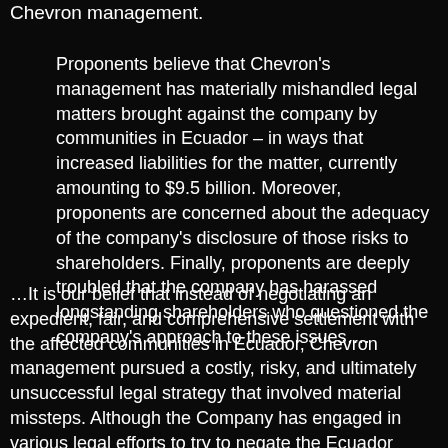Chevron management.
Proponents believe that Chevron's management has materially mishandled legal matters brought against the company by communities in Ecuador – in ways that increased liabilities for the matter, currently amounting to $9.5 billion. Moreover, proponents are concerned about the adequacy of the company's disclosure of those risks to shareholders. Finally, proponents are deeply troubled that the company has harassed longstanding shareholders who questioned the company's approach to these issues….
…It is our belief that instead of negotiating an expedient, fair, and comprehensive settlement with the affected communities in Ecuador, Chevron management pursued a costly, risky, and ultimately unsuccessful legal strategy that involved material missteps. Although the Company has engaged in various legal efforts to try to negate the Ecuador judgment, the